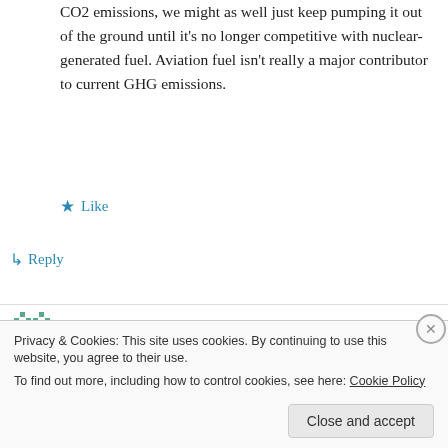CO2 emissions, we might as well just keep pumping it out of the ground until it's no longer competitive with nuclear-generated fuel. Aviation fuel isn't really a major contributor to current GHG emissions.
★ Like
↳ Reply
John Morgan on 30 April 2010 at 10:18 AM
Thanks for that SciAm link EN. It describes a
Privacy & Cookies: This site uses cookies. By continuing to use this website, you agree to their use.
To find out more, including how to control cookies, see here: Cookie Policy
[Close and accept]